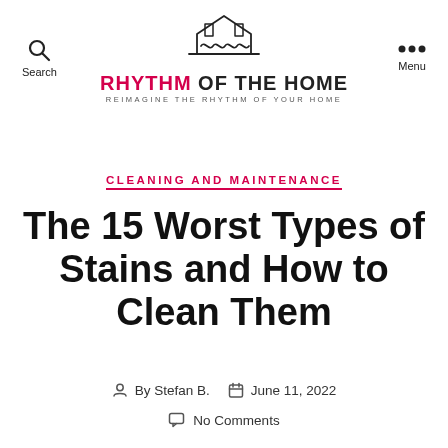Search | RHYTHM OF THE HOME — REIMAGINE THE RHYTHM OF YOUR HOME | Menu
CLEANING AND MAINTENANCE
The 15 Worst Types of Stains and How to Clean Them
By Stefan B.  June 11, 2022
No Comments